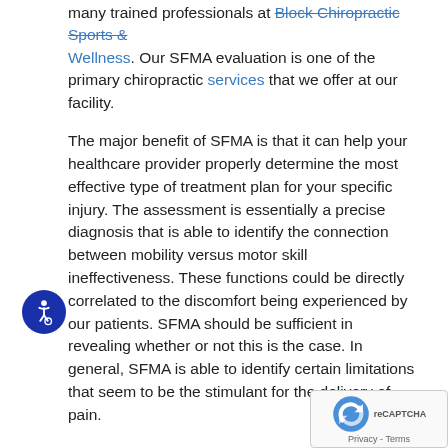many trained professionals at Block Chiropractic Sports & Wellness. Our SFMA evaluation is one of the primary chiropractic services that we offer at our facility.
The major benefit of SFMA is that it can help your healthcare provider properly determine the most effective type of treatment plan for your specific injury. The assessment is essentially a precise diagnosis that is able to identify the connection between mobility versus motor skill ineffectiveness. These functions could be directly correlated to the discomfort being experienced by our patients. SFMA should be sufficient in revealing whether or not this is the case. In general, SFMA is able to identify certain limitations that seem to be the stimulant for the delivery of pain.
The procedure is circulated around 7 fundamental movement patterns and the idea of regional interdependence. This concept can help uncover how unrelated problems are the catalyst for causing the function and creating discomfort. It can be a systematic approach that focuses on "muscle memory" and locates that cause of pain. The repetitive assessment reveals what functions needed to be the primary focus of
[Figure (other): Accessibility icon: dark blue circle with white wheelchair accessibility symbol]
[Figure (other): reCAPTCHA widget overlay in bottom-right corner showing the reCAPTCHA logo and Privacy - Terms text]